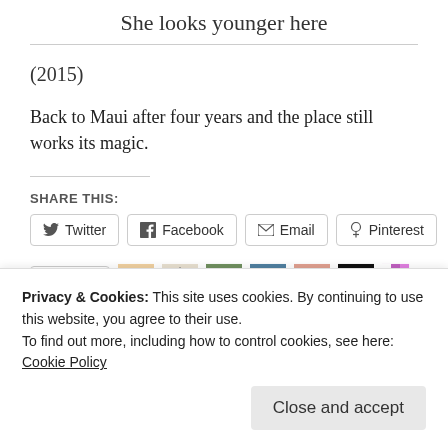She looks younger here
(2015)
Back to Maui after four years and the place still works its magic.
SHARE THIS:
Twitter | Facebook | Email | Pinterest
Like
Privacy & Cookies: This site uses cookies. By continuing to use this website, you agree to their use.
To find out more, including how to control cookies, see here: Cookie Policy
Close and accept